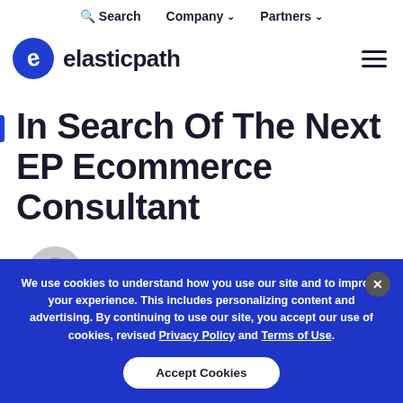Search  Company  Partners
[Figure (logo): Elastic Path logo: blue 'e' icon with tagline 'elasticpath' in dark bold text]
In Search Of The Next EP Ecommerce Consultant
[Figure (photo): Circular avatar photo of a person, partially visible, gray background]
We use cookies to understand how you use our site and to improve your experience. This includes personalizing content and advertising. By continuing to use our site, you accept our use of cookies, revised Privacy Policy and Terms of Use.
Accept Cookies